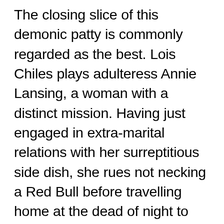The closing slice of this demonic patty is commonly regarded as the best. Lois Chiles plays adulteress Annie Lansing, a woman with a distinct mission. Having just engaged in extra-marital relations with her surreptitious side dish, she rues not necking a Red Bull before travelling home at the dead of night to beat her husband back before his suspicions can become aroused. Driving while weary is never advisable and she soon learns the error in her ways as she hits a bump in the road and grinds to an unforeseen halt. However, this is no pitted pot hole we're talking of here and, instead, a down-on-his-luck hitchhiker who appears directly in her headlights.